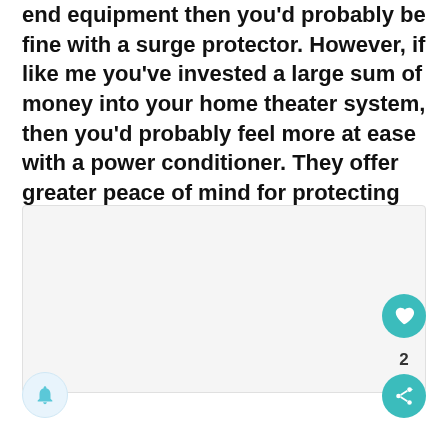end equipment then you'd probably be fine with a surge protector. However, if like me you've invested a large sum of money into your home theater system, then you'd probably feel more at ease with a power conditioner. They offer greater peace of mind for protecting your expensive equipment.
[Figure (photo): A large light gray rectangular placeholder image area with rounded corners, taking up the lower portion of the page.]